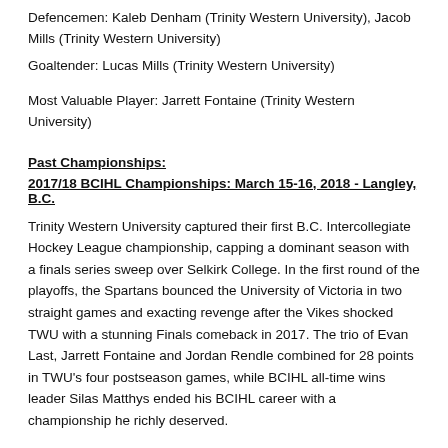Defencemen: Kaleb Denham (Trinity Western University), Jacob Mills (Trinity Western University)
Goaltender: Lucas Mills (Trinity Western University)
Most Valuable Player: Jarrett Fontaine (Trinity Western University)
Past Championships:
2017/18 BCIHL Championships: March 15-16, 2018 - Langley, B.C.
Trinity Western University captured their first B.C. Intercollegiate Hockey League championship, capping a dominant season with a finals series sweep over Selkirk College. In the first round of the playoffs, the Spartans bounced the University of Victoria in two straight games and exacting revenge after the Vikes shocked TWU with a stunning Finals comeback in 2017. The trio of Evan Last, Jarrett Fontaine and Jordan Rendle combined for 28 points in TWU's four postseason games, while BCIHL all-time wins leader Silas Matthys ended his BCIHL career with a championship he richly deserved.
Winner: Trinity Western University (4-0)
Finalist: Selkirk College (2-2; lost Finals 2-0 to Trinity Western University)
Semi-Finalists: University of Victoria (0-2; lost first round 2-0 to Trinity...